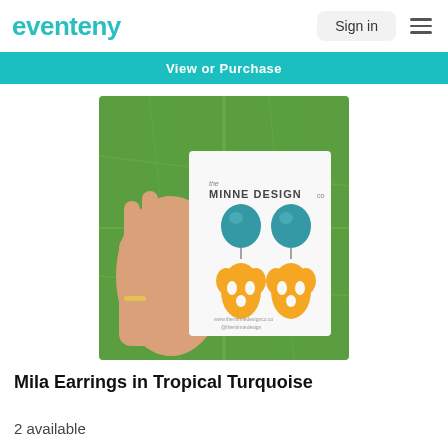eventeny
Sign in
View or Purchase
[Figure (photo): Hand holding a product card from The Minne Design Co. showing Mila Earrings in Tropical Turquoise — teal circular tops with gold metallic monstera leaf dangles, displayed against a large green leaf background.]
Mila Earrings in Tropical Turquoise
2 available